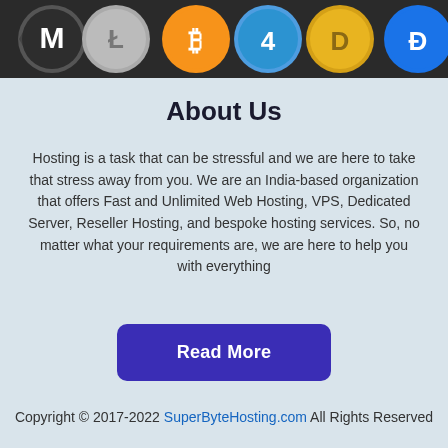[Figure (illustration): Banner of cryptocurrency logos including Monero, Litecoin, Bitcoin, Dash, and others on a dark background]
About Us
Hosting is a task that can be stressful and we are here to take that stress away from you. We are an India-based organization that offers Fast and Unlimited Web Hosting, VPS, Dedicated Server, Reseller Hosting, and bespoke hosting services. So, no matter what your requirements are, we are here to help you with everything
Read More
Copyright © 2017-2022 SuperByteHosting.com All Rights Reserved